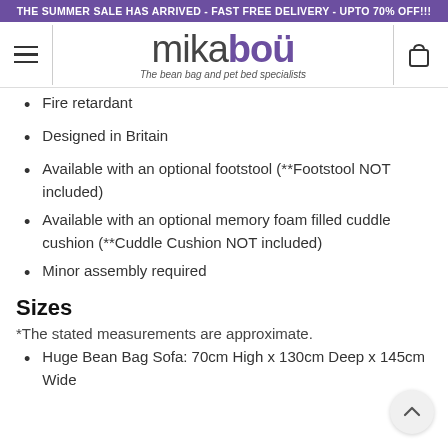THE SUMMER SALE HAS ARRIVED - FAST FREE DELIVERY - UPTO 70% OFF!!!
[Figure (logo): Mikabou logo with tagline 'The bean bag and pet bed specialists']
Fire retardant
Designed in Britain
Available with an optional footstool (**Footstool NOT included)
Available with an optional memory foam filled cuddle cushion (**Cuddle Cushion NOT included)
Minor assembly required
Sizes
*The stated measurements are approximate.
Huge Bean Bag Sofa: 70cm High x 130cm Deep x 145cm Wide